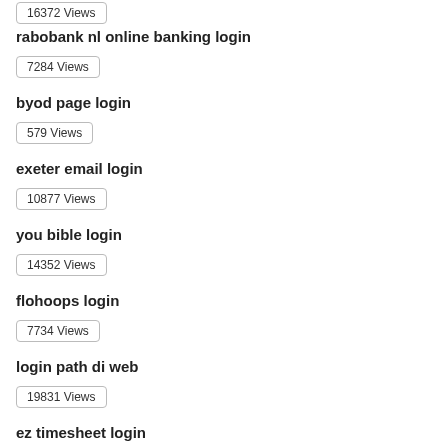16372 Views
rabobank nl online banking login
7284 Views
byod page login
579 Views
exeter email login
10877 Views
you bible login
14352 Views
flohoops login
7734 Views
login path di web
19831 Views
ez timesheet login